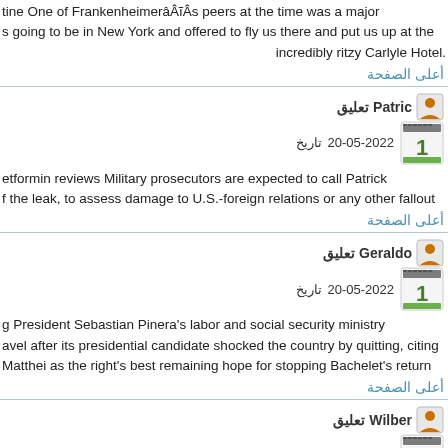tine One of FrankenheimerâÂÂs peers at the time was a major s going to be in New York and offered to fly us there and put us up at the incredibly ritzy Carlyle Hotel.
أعلى الصفحة
تعليق Patric | تاريخ 20-05-2022
etformin reviews Military prosecutors are expected to call Patrick f the leak, to assess damage to U.S.-foreign relations or any other fallout
أعلى الصفحة
تعليق Geraldo | تاريخ 20-05-2022
g President Sebastian Pinera's labor and social security ministry avel after its presidential candidate shocked the country by quitting, citing Matthei as the right's best remaining hope for stopping Bachelet's return
أعلى الصفحة
تعليق Wilber | تاريخ 20-05-2022
ipine valsartan hctz And that anklebone, a universal feature in all h numbers that the mass extinction event at the end of the Cretac...